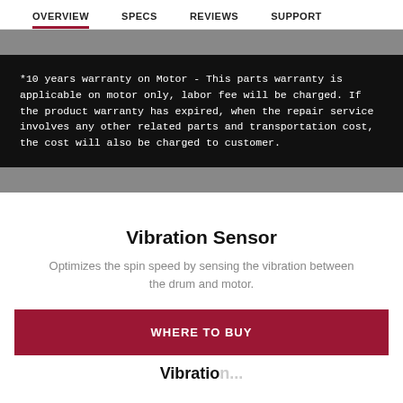OVERVIEW | SPECS | REVIEWS | SUPPORT
*10 years warranty on Motor - This parts warranty is applicable on motor only, labor fee will be charged. If the product warranty has expired, when the repair service involves any other related parts and transportation cost, the cost will also be charged to customer.
Vibration Sensor
Optimizes the spin speed by sensing the vibration between the drum and motor.
WHERE TO BUY
Vibration